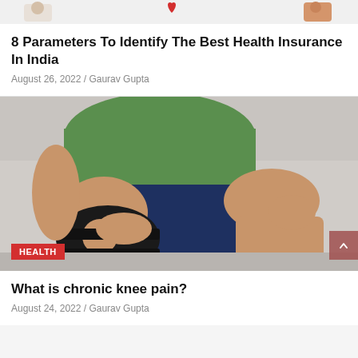[Figure (illustration): Partial top strip showing health-related illustrations with a red heart icon]
8 Parameters To Identify The Best Health Insurance In India
August 26, 2022 / Gaurav Gupta
[Figure (photo): Man sitting on a couch wearing a black knee brace, holding his knee with both hands, wearing a green t-shirt and dark blue shorts]
HEALTH
What is chronic knee pain?
August 24, 2022 / Gaurav Gupta